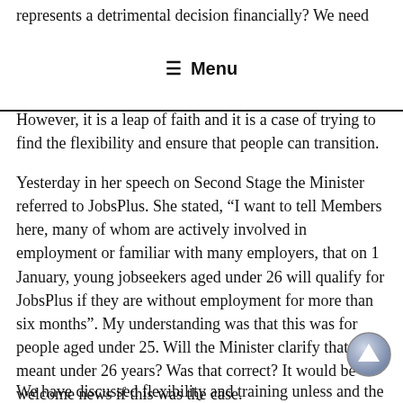represents a detrimental decision financially? We need
≡ Menu
However, it is a leap of faith and it is a case of trying to find the flexibility and ensure that people can transition.
Yesterday in her speech on Second Stage the Minister referred to JobsPlus. She stated, "I want to tell Members here, many of whom are actively involved in employment or familiar with many employers, that on 1 January, young jobseekers aged under 26 will qualify for JobsPlus if they are without employment for more than six months". My understanding was that this was for people aged under 25. Will the Minister clarify that she meant under 26 years? Was that correct? It would be welcome news if this was the case.
We have discussed flexibility and training unless and the